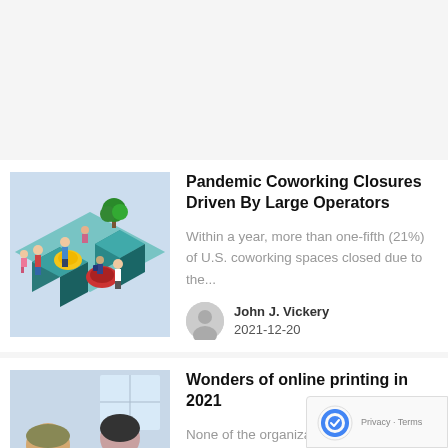[Figure (illustration): Isometric illustration of a coworking space with people in various poses, bean bags, and office furniture in blue and yellow tones.]
Pandemic Coworking Closures Driven By Large Operators
Within a year, more than one-fifth (21%) of U.S. coworking spaces closed due to the...
John J. Vickery
2021-12-20
[Figure (photo): Photo of two people, a man and a woman, looking at documents or a laptop at a desk.]
Wonders of online printing in 2021
None of the organizations today can work and grow